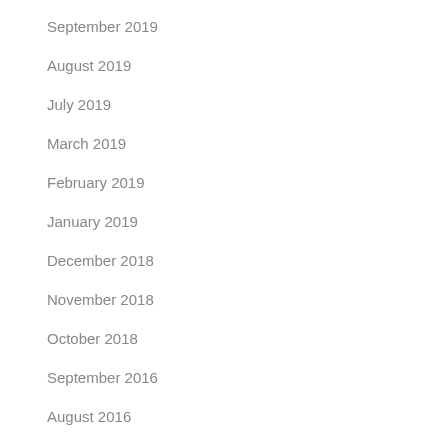September 2019
August 2019
July 2019
March 2019
February 2019
January 2019
December 2018
November 2018
October 2018
September 2016
August 2016